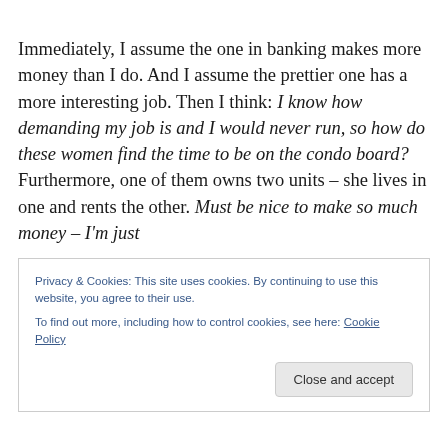Immediately, I assume the one in banking makes more money than I do. And I assume the prettier one has a more interesting job. Then I think: I know how demanding my job is and I would never run, so how do these women find the time to be on the condo board? Furthermore, one of them owns two units – she lives in one and rents the other. Must be nice to make so much money – I'm just
Privacy & Cookies: This site uses cookies. By continuing to use this website, you agree to their use.
To find out more, including how to control cookies, see here: Cookie Policy
Close and accept